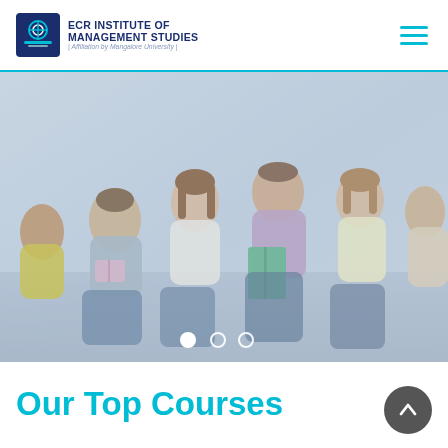ECR INSTITUTE OF MANAGEMENT STUDIES | Affiliation by Mangalore University
[Figure (photo): Group of young students sitting together outdoors, smiling and reading books/notebooks. Semi-transparent overlay on the image. Carousel indicator dots at the bottom.]
Our Top Courses